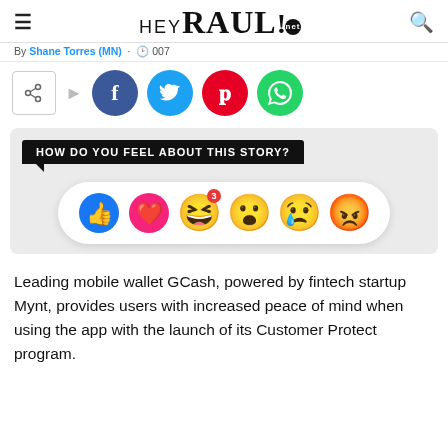HEY RAUL! .net
By Shane Torres (MN) · 007
[Figure (other): Social share buttons: share box icon, Facebook (blue circle), Twitter (cyan circle), Pinterest (red circle), WhatsApp (green circle)]
[Figure (other): Reaction widget with label 'HOW DO YOU FEEL ABOUT THIS STORY?' and Facebook-style emoji reaction bar showing thumbs up (blue), heart (pink), haha with badge 3 (yellow), wow (yellow), sad (yellow), angry (orange)]
Leading mobile wallet GCash, powered by fintech startup Mynt, provides users with increased peace of mind when using the app with the launch of its Customer Protect program.